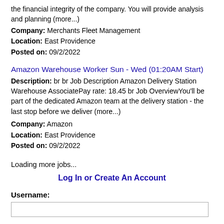the financial integrity of the company. You will provide analysis and planning (more...)
Company: Merchants Fleet Management
Location: East Providence
Posted on: 09/2/2022
Amazon Warehouse Worker Sun - Wed (01:20AM Start)
Description: br br Job Description Amazon Delivery Station Warehouse AssociatePay rate: 18.45 br Job OverviewYou'll be part of the dedicated Amazon team at the delivery station - the last stop before we deliver (more...)
Company: Amazon
Location: East Providence
Posted on: 09/2/2022
Loading more jobs...
Log In or Create An Account
Username: